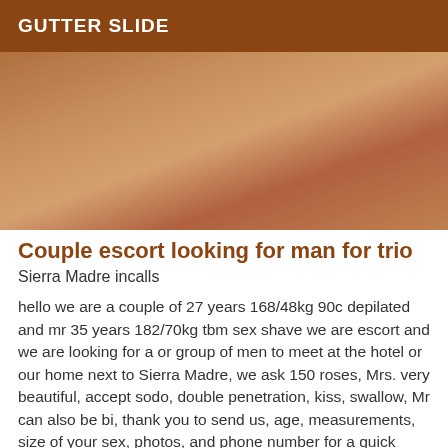GUTTER SLIDE
[Figure (photo): Close-up photo of person's torso/body, warm brown tones]
Couple escort looking for man for trio
Sierra Madre incalls
hello we are a couple of 27 years 168/48kg 90c depilated and mr 35 years 182/70kg tbm sex shave we are escort and we are looking for a or group of men to meet at the hotel or our home next to Sierra Madre, we ask 150 roses, Mrs. very beautiful, accept sodo, double penetration, kiss, swallow, Mr can also be bi, thank you to send us, age, measurements, size of your sex, photos, and phone number for a quick answer, here is